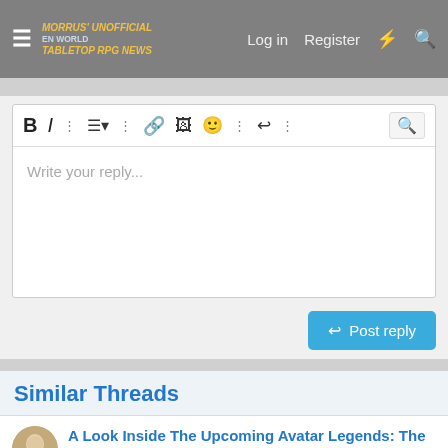Morrus' Unofficial Tabletop RPG News — Log in  Register
[Figure (screenshot): Text editor toolbar with bold, italic, list, link, image, emoji, undo, and other formatting icons]
Write your reply...
Post reply
Similar Threads
A Look Inside The Upcoming Avatar Legends: The RPG
robowieland · *TTRPGs General · Replies: 1 · Aug 30, 2021